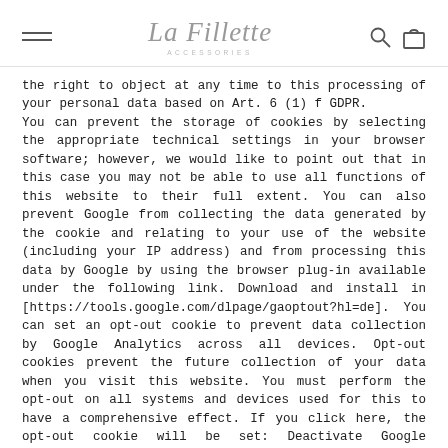La Fillette ACCESSORIES [hamburger menu, search icon, bag icon]
the right to object at any time to this processing of your personal data based on Art. 6 (1) f GDPR. You can prevent the storage of cookies by selecting the appropriate technical settings in your browser software; however, we would like to point out that in this case you may not be able to use all functions of this website to their full extent. You can also prevent Google from collecting the data generated by the cookie and relating to your use of the website (including your IP address) and from processing this data by Google by using the browser plug-in available under the following link. Download and install in [https://tools.google.com/dlpage/gaoptout?hl=de]. You can set an opt-out cookie to prevent data collection by Google Analytics across all devices. Opt-out cookies prevent the future collection of your data when you visit this website. You must perform the opt-out on all systems and devices used for this to have a comprehensive effect. If you click here, the opt-out cookie will be set: Deactivate Google Analytics.